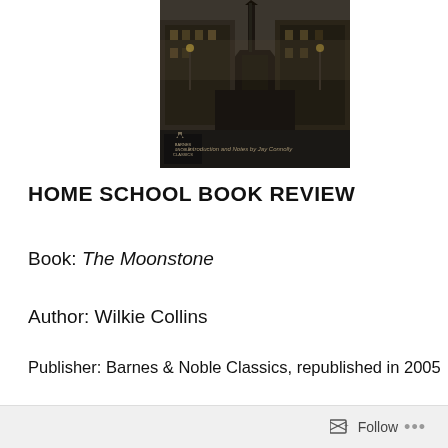[Figure (photo): Book cover of The Moonstone by Wilkie Collins, Barnes & Noble Classics edition. Dark atmospheric image of a Victorian street with a church spire, published with a dark banner at the bottom showing the Barnes & Noble Classics logo and text 'Introduction and Notes by Jay Connolly'.]
HOME SCHOOL BOOK REVIEW
Book: The Moonstone
Author: Wilkie Collins
Publisher: Barnes & Noble Classics, republished in 2005
ISBN-13: 978-1593083229
ISBN-10: 159308322X
Follow